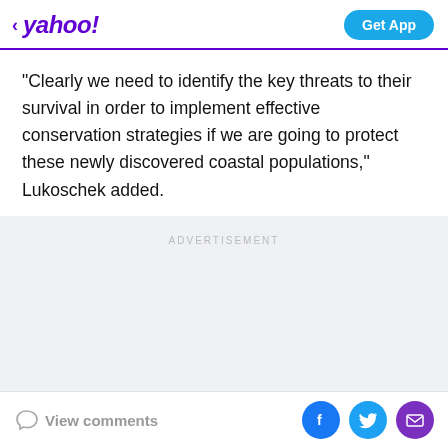yahoo! Get App
"Clearly we need to identify the key threats to their survival in order to implement effective conservation strategies if we are going to protect these newly discovered coastal populations," Lukoschek added.
ADVERTISEMENT
View comments